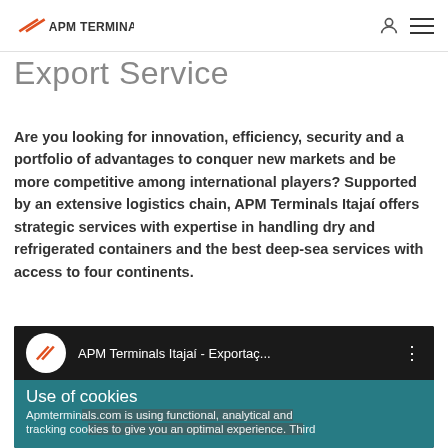APM Terminals
Export Service
Are you looking for innovation, efficiency, security and a portfolio of advantages to conquer new markets and be more competitive among international players? Supported by an extensive logistics chain, APM Terminals Itajaí offers strategic services with expertise in handling dry and refrigerated containers and the best deep-sea services with access to four continents.
[Figure (screenshot): YouTube video thumbnail showing APM Terminals Itajaí - Exportaç... with a cookie consent overlay beneath reading 'Use of cookies' and 'Apmterminals.com is using functional, analytical and tracking cookies to give you an optimal experience. Third']